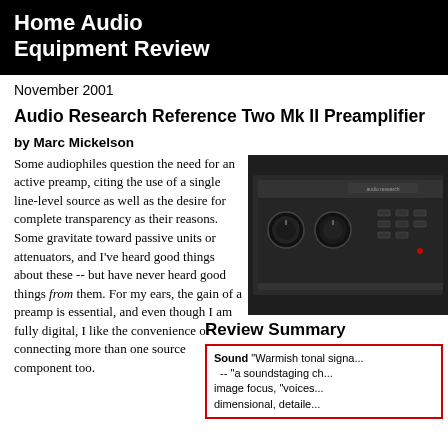Home Audio Equipment Review
November 2001
Audio Research Reference Two Mk II Preamplifier
by Marc Mickelson
Some audiophiles question the need for an active preamp, citing the use of a single line-level source as well as the desire for complete transparency as their reasons. Some gravitate toward passive units or attenuators, and I've heard good things about these -- but have never heard good things from them. For my ears, the gain of a preamp is essential, and even though I am fully digital, I like the convenience of connecting more than one source component too.
[Figure (photo): Photo of the Audio Research Reference Two Mk II Preamplifier, a black rack-mounted unit with knobs and controls visible on the front panel]
Review Summary
Sound "Warmish tonal signa... -- "a soundstaging ch... image focus, "voices... dimensional, detaile...